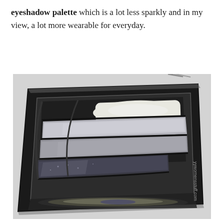eyeshadow palette which is a lot less sparkly and in my view, a lot more wearable for everyday.
[Figure (photo): An eyeshadow palette with black casing containing four shades ranging from white/cream to silver shimmer to dark charcoal/black glitter, arranged in curved rows. A makeup brush is visible at the top. The palette has a mirror compartment at the bottom. Watermark text 'yywomensstuff.com' visible on the right side.]